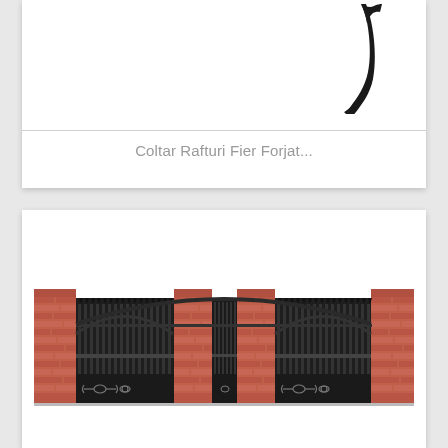[Figure (photo): Partial image of a black wrought iron corner bracket/shelf piece, cropped at the top of the card]
Coltar Rafturi Fier Forjat...
[Figure (illustration): Illustration of a wrought iron gate with decorative ironwork arches and spear-top pickets, flanked by brick columns, with ornamental scroll panels at the base]